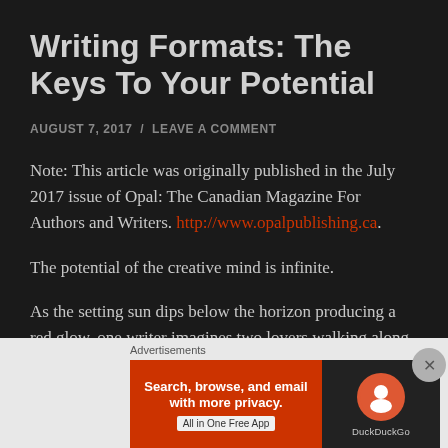Writing Formats: The Keys To Your Potential
AUGUST 7, 2017  /  LEAVE A COMMENT
Note: This article was originally published in the July 2017 issue of Opal: The Canadian Magazine For Authors and Writers. http://www.opalpublishing.ca.
The potential of the creative mind is infinite.
As the setting sun dips below the horizon producing a red glow, one writer imagines two lovers walking along a
[Figure (screenshot): DuckDuckGo advertisement banner: orange left panel with text 'Search, browse, and email with more privacy. All in One Free App' and dark right panel with DuckDuckGo logo and name. Below is an 'Advertisements' label.]